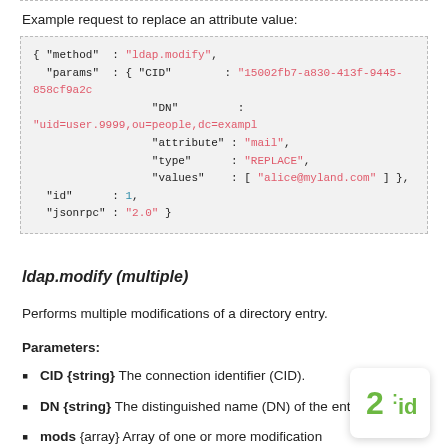Example request to replace an attribute value:
{ "method" : "ldap.modify",
  "params" : { "CID" : "15002fb7-a830-413f-9445-858cf9a2c
                "DN" : "uid=user.9999,ou=people,dc=exampl
                "attribute" : "mail",
                "type" : "REPLACE",
                "values" : [ "alice@myland.com" ] },
  "id" : 1,
  "jsonrpc" : "2.0" }
ldap.modify (multiple)
Performs multiple modifications of a directory entry.
Parameters:
CID {string} The connection identifier (CID).
DN {string} The distinguished name (DN) of the entry to modify.
mods {array} Array of one or more modification